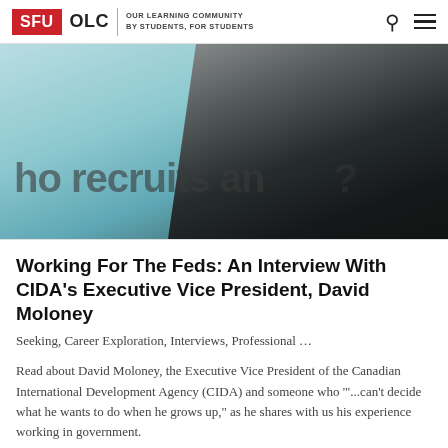SFU OLC | OUR LEARNING COMMUNITY BY STUDENTS, FOR STUDENTS
[Figure (photo): A man in a dark suit speaking at a podium or event, with a teal/light blue banner behind him showing partial text 'ho recruits and']
Working For The Feds: An Interview With CIDA’s Executive Vice President, David Moloney
Seeking, Career Exploration, Interviews, Professional …
Read about David Moloney, the Executive Vice President of the Canadian International Development Agency (CIDA) and someone who '"...can’t decide what he wants to do when he grows up," as he shares with us his experience working in government.